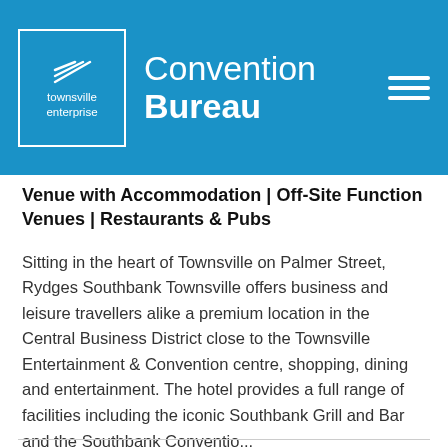townsville enterprise | Convention Bureau
Venue with Accommodation | Off-Site Function Venues | Restaurants & Pubs
Sitting in the heart of Townsville on Palmer Street, Rydges Southbank Townsville offers business and leisure travellers alike a premium location in the Central Business District close to the Townsville Entertainment & Convention centre, shopping, dining and entertainment. The hotel provides a full range of facilities including the iconic Southbank Grill and Bar and the Southbank Conventio...
READ MORE